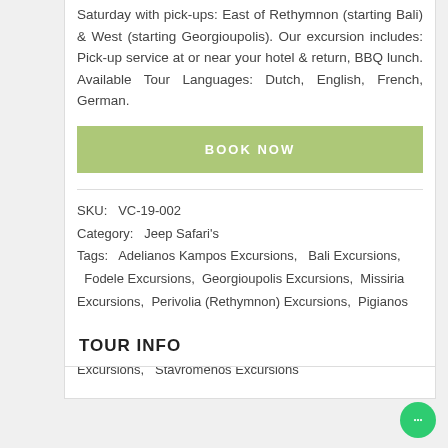Saturday with pick-ups: East of Rethymnon (starting Bali) & West (starting Georgioupolis). Our excursion includes: Pick-up service at or near your hotel & return, BBQ lunch. Available Tour Languages: Dutch, English, French, German.
BOOK NOW
SKU:   VC-19-002
Category:   Jeep Safari's
Tags:   Adelianos Kampos Excursions,   Bali Excursions,   Fodele Excursions,   Georgioupolis Excursions,   Missiria Excursions,   Perivolia (Rethymnon) Excursions,   Pigianos Kampos Excursions,   Platanias (Rethymnon) Excursions,   Rethymnon Excursions,   Sfakaki Excursions,   Skaleta Excursions,   Stavromenos Excursions
TOUR INFO